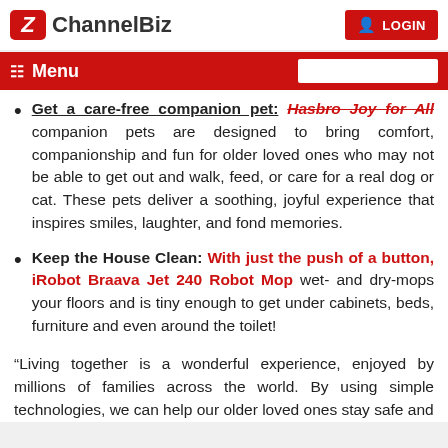ChannelBiz | LOGIN
Get a care-free companion pet: Hasbro Joy for All companion pets are designed to bring comfort, companionship and fun for older loved ones who may not be able to get out and walk, feed, or care for a real dog or cat. These pets deliver a soothing, joyful experience that inspires smiles, laughter, and fond memories.
Keep the House Clean: With just the push of a button, iRobot Braava Jet 240 Robot Mop wet- and dry-mops your floors and is tiny enough to get under cabinets, beds, furniture and even around the toilet!
“Living together is a wonderful experience, enjoyed by millions of families across the world. By using simple technologies, we can help our older loved ones stay safe and